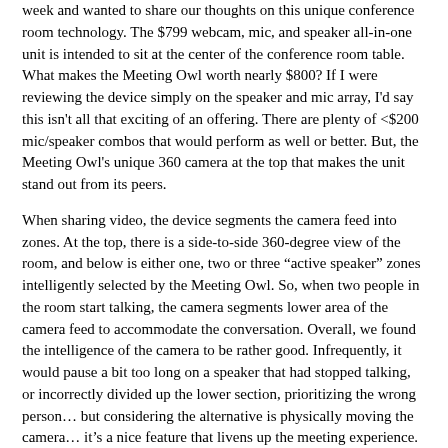week and wanted to share our thoughts on this unique conference room technology. The $799 webcam, mic, and speaker all-in-one unit is intended to sit at the center of the conference room table. What makes the Meeting Owl worth nearly $800? If I were reviewing the device simply on the speaker and mic array, I'd say this isn't all that exciting of an offering. There are plenty of <$200 mic/speaker combos that would perform as well or better. But, the Meeting Owl's unique 360 camera at the top that makes the unit stand out from its peers.
When sharing video, the device segments the camera feed into zones. At the top, there is a side-to-side 360-degree view of the room, and below is either one, two or three "active speaker" zones intelligently selected by the Meeting Owl. So, when two people in the room start talking, the camera segments lower area of the camera feed to accommodate the conversation. Overall, we found the intelligence of the camera to be rather good. Infrequently, it would pause a bit too long on a speaker that had stopped talking, or incorrectly divided up the lower section, prioritizing the wrong person… but considering the alternative is physically moving the camera… it's a nice feature that livens up the meeting experience.
Pros:
Incredibly easy to setup and configure (under 10 minutes)
360 camera works as advertised